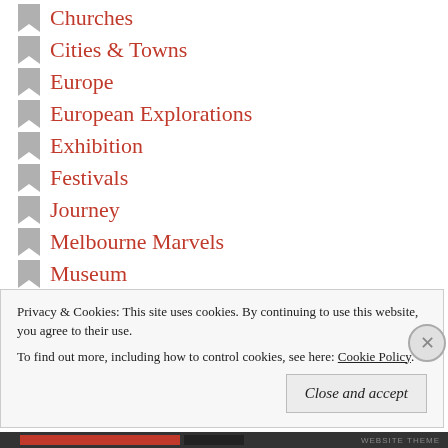Churches
Cities & Towns
Europe
European Explorations
Exhibition
Festivals
Journey
Melbourne Marvels
Museum
Out in Perth
Parks
Regional Wonders
Structures
Privacy & Cookies: This site uses cookies. By continuing to use this website, you agree to their use. To find out more, including how to control cookies, see here: Cookie Policy
Close and accept